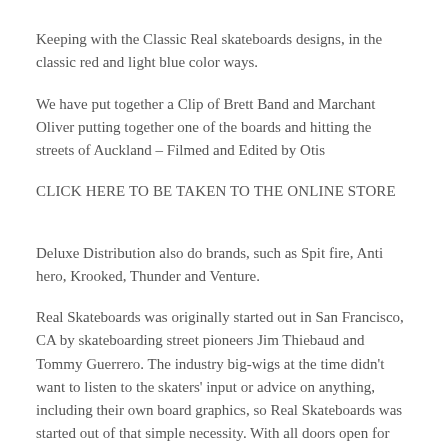Keeping with the Classic Real skateboards designs, in the classic red and light blue color ways.
We have put together a Clip of Brett Band and Marchant Oliver putting together one of the boards and hitting the streets of Auckland – Filmed and Edited by Otis
CLICK HERE TO BE TAKEN TO THE ONLINE STORE
Deluxe Distribution also do brands, such as Spit fire, Anti hero, Krooked, Thunder and Venture.
Real Skateboards was originally started out in San Francisco, CA by skateboarding street pioneers Jim Thiebaud and Tommy Guerrero. The industry big-wigs at the time didn't want to listen to the skaters' input or advice on anything, including their own board graphics, so Real Skateboards was started out of that simple necessity. With all doors open for suggestions and ideas from the